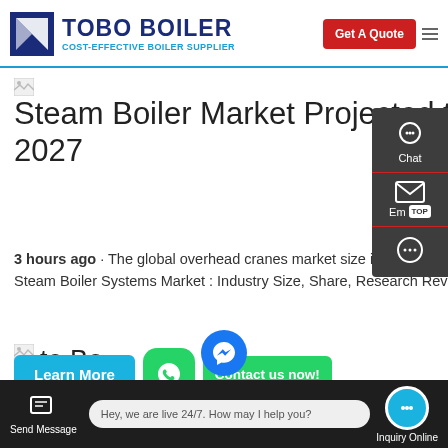TOBO BOILER - COST-EFFECTIVE BOILER SUPPLIER
Steam Boiler Market Projected to Cross $20.0 Billion by 2027
3 hours ago · The global overhead cranes market size is expected to reach $5.0 billion in 2027 from $3.8 billion in 2019, Global Steam Boiler Systems Market : Industry Size, Share, Research Reviews
[Figure (screenshot): WhatsApp chat button (green rounded square icon)]
Send Message | Hey, we are live 24/7. How may I help you? | Inquiry Online